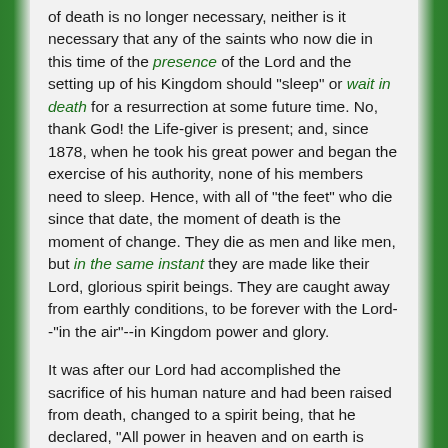of death is no longer necessary, neither is it necessary that any of the saints who now die in this time of the presence of the Lord and the setting up of his Kingdom should "sleep" or wait in death for a resurrection at some future time. No, thank God! the Life-giver is present; and, since 1878, when he took his great power and began the exercise of his authority, none of his members need to sleep. Hence, with all of "the feet" who die since that date, the moment of death is the moment of change. They die as men and like men, but in the same instant they are made like their Lord, glorious spirit beings. They are caught away from earthly conditions, to be forever with the Lord--"in the air"--in Kingdom power and glory.
It was after our Lord had accomplished the sacrifice of his human nature and had been raised from death, changed to a spirit being, that he declared, "All power in heaven and on earth is given unto me." (Matt. 28:18) And not until all the members of the Christ have followed the example of the Head, and finished the sacrifice in death,